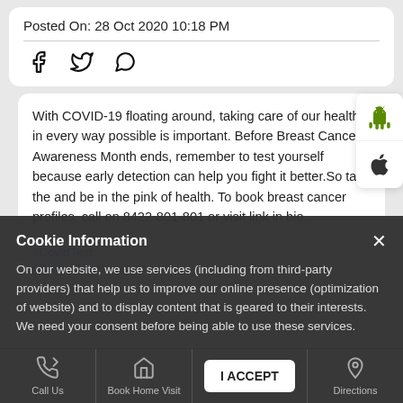Posted On: 28 Oct 2020 10:18 PM
[Figure (other): Social media share icons: Facebook, Twitter, WhatsApp]
With COVID-19 floating around, taking care of our health in every way possible is important. Before Breast Cancer Awareness Month ends, remember to test yourself because early detection can help you fight it better.So take the and be in the pink of health. To book breast cancer profiles, call on 8422-801-801 or visit link in bio.
#CovidTest
#BreastCancerAwareness
Cookie Information
On our website, we use services (including from third-party providers) that help us to improve our online presence (optimization of website) and to display content that is geared to their interests. We need your consent before being able to use these services.
Call Us
Book Home Visit
I ACCEPT
Directions